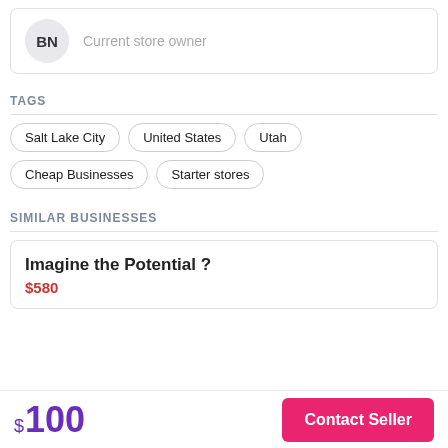BN — Current store owner
TAGS
Salt Lake City
United States
Utah
Cheap Businesses
Starter stores
SIMILAR BUSINESSES
Imagine the Potential ?
$580
$100
Contact Seller